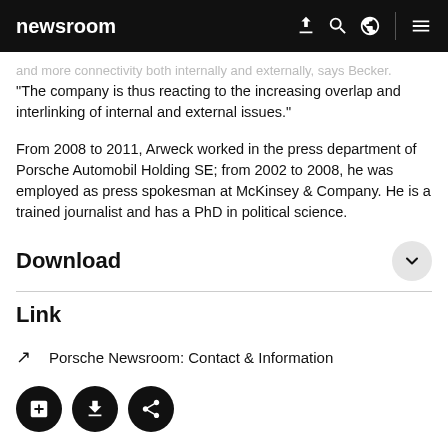newsroom
and more connectivity both internally and externally, says Becker. "The company is thus reacting to the increasing overlap and interlinking of internal and external issues."
From 2008 to 2011, Arweck worked in the press department of Porsche Automobil Holding SE; from 2002 to 2008, he was employed as press spokesman at McKinsey & Company. He is a trained journalist and has a PhD in political science.
Download
Link
Porsche Newsroom: Contact & Information